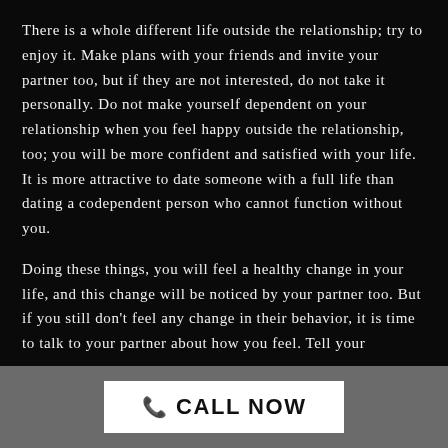There is a whole different life outside the relationship; try to enjoy it. Make plans with your friends and invite your partner too, but if they are not interested, do not take it personally. Do not make yourself dependent on your relationship when you feel happy outside the relationship, too; you will be more confident and satisfied with your life. It is more attractive to date someone with a full life than dating a codependent person who cannot function without you.
Doing these things, you will feel a healthy change in your life, and this change will be noticed by your partner too. But if you still don't feel any change in their behavior, it is time to talk to your partner about how you feel. Tell your
📞 CALL NOW